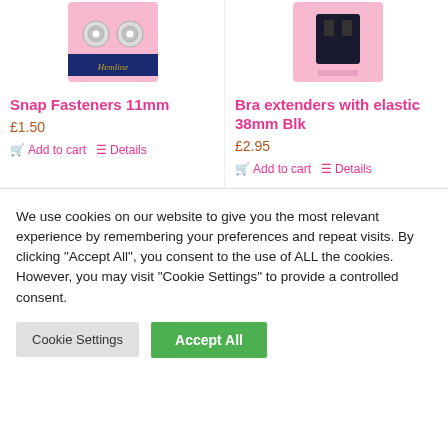[Figure (photo): Product image of Snap Fasteners 11mm on pink packaging with Hemline branding]
[Figure (photo): Product image of Bra extenders with elastic 38mm Blk on pink packaging]
Snap Fasteners 11mm
Bra extenders with elastic 38mm Blk
£1.50
£2.95
Add to cart
Details
Add to cart
Details
We use cookies on our website to give you the most relevant experience by remembering your preferences and repeat visits. By clicking "Accept All", you consent to the use of ALL the cookies. However, you may visit "Cookie Settings" to provide a controlled consent.
Cookie Settings
Accept All